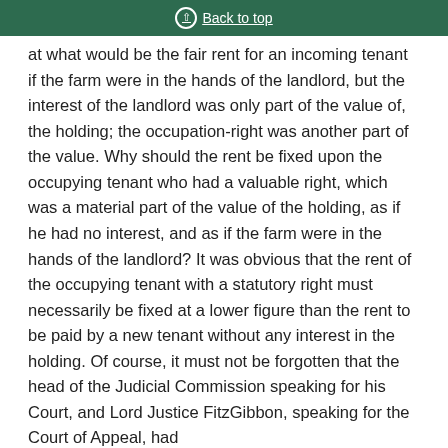Back to top
at what would be the fair rent for an incoming tenant if the farm were in the hands of the landlord, but the interest of the landlord was only part of the value of, the holding; the occupation-right was another part of the value. Why should the rent be fixed upon the occupying tenant who had a valuable right, which was a material part of the value of the holding, as if he had no interest, and as if the farm were in the hands of the landlord? It was obvious that the rent of the occupying tenant with a statutory right must necessarily be fixed at a lower figure than the rent to be paid by a new tenant without any interest in the holding. Of course, it must not be forgotten that the head of the Judicial Commission speaking for his Court, and Lord Justice FitzGibbon, speaking for the Court of Appeal, had